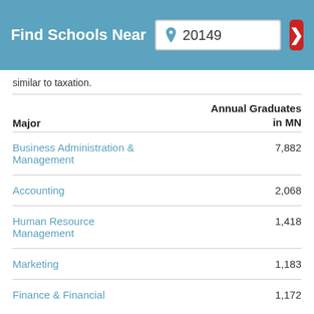Find Schools Near 20149
similar to taxation.
| Major | Annual Graduates in MN |
| --- | --- |
| Business Administration & Management | 7,882 |
| Accounting | 2,068 |
| Human Resource Management | 1,418 |
| Marketing | 1,183 |
| Finance & Financial Management | 1,172 |